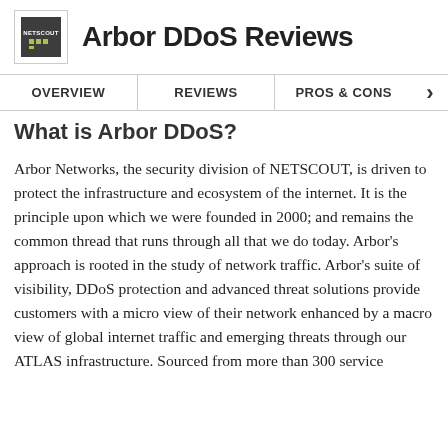Arbor DDoS Reviews
What is Arbor DDoS?
Arbor Networks, the security division of NETSCOUT, is driven to protect the infrastructure and ecosystem of the internet. It is the principle upon which we were founded in 2000; and remains the common thread that runs through all that we do today. Arbor’s approach is rooted in the study of network traffic. Arbor’s suite of visibility, DDoS protection and advanced threat solutions provide customers with a micro view of their network enhanced by a macro view of global internet traffic and emerging threats through our ATLAS infrastructure. Sourced from more than 300 service...